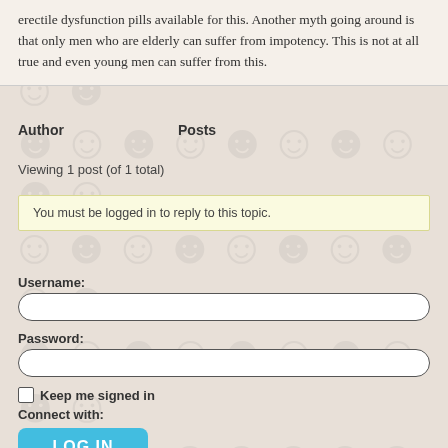erectile dysfunction pills available for this. Another myth going around is that only men who are elderly can suffer from impotency. This is not at all true and even young men can suffer from this.
| Author | Posts |
| --- | --- |
Viewing 1 post (of 1 total)
You must be logged in to reply to this topic.
Username:
Password:
Keep me signed in
Connect with:
LOG IN